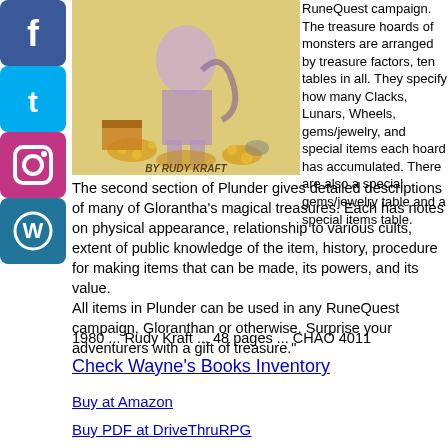[Figure (illustration): Fantasy illustration of a character standing amidst treasure, signed 'BY RUDY KRAFT']
RuneQuest campaign. The treasure hoards of monsters are arranged by treasure factors, ten tables in all. They specify how many Clacks, Lunars, Wheels, gems/jewelry, and special items each hoard has accumulated. There are also a special gems/jewelry table and a special items table. The second section of Plunder gives detailed descriptions of many of Glorantha's magical treasures. Each has notes on physical appearance, relationship to various cults, extent of public knowledge of the item, history, procedure for making items that can be made, its powers, and its value.
All items in Plunder can be used in any RuneQuest campaign, Gloranthan or otherwise. Surprise your adventurers with a gift of treasure."
1980 ... Rudy Kraft ... 48 pages ... CHAO 4011
Check Wayne's Books Inventory
Buy at Amazon
Buy PDF at DriveThruRPG